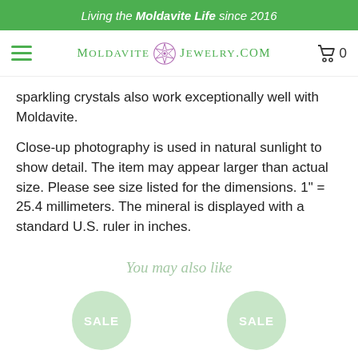Living the Moldavite Life since 2016
[Figure (logo): MoldaviteJewelry.com logo with green text and a geometric star/flower symbol, hamburger menu icon on left, cart icon with 0 on right]
sparkling crystals also work exceptionally well with Moldavite.
Close-up photography is used in natural sunlight to show detail. The item may appear larger than actual size. Please see size listed for the dimensions. 1" = 25.4 millimeters. The mineral is displayed with a standard U.S. ruler in inches.
You may also like
SALE SALE